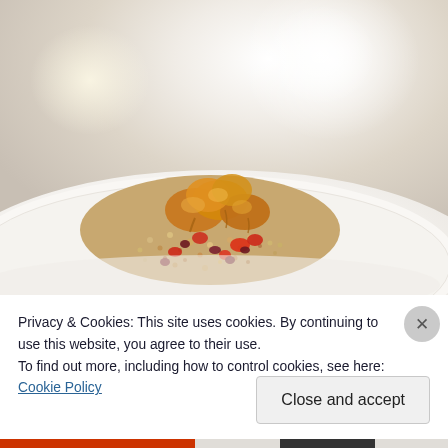[Figure (photo): Close-up photo of a quinoa salad dish with red peppers, legumes, and glazed vegetables served on a white plate, with a blurred white background]
Privacy & Cookies: This site uses cookies. By continuing to use this website, you agree to their use.
To find out more, including how to control cookies, see here: Cookie Policy
Close and accept